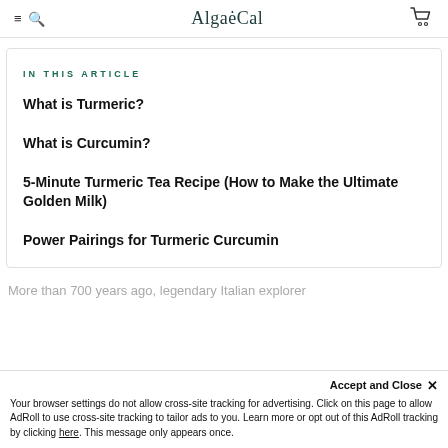AlgaeCal
IN THIS ARTICLE
What is Turmeric?
What is Curcumin?
5-Minute Turmeric Tea Recipe (How to Make the Ultimate Golden Milk)
Power Pairings for Turmeric Curcumin
More than 700 years ago, legendary Italian explorer
Accept and Close ✕
Your browser settings do not allow cross-site tracking for advertising. Click on this page to allow AdRoll to use cross-site tracking to tailor ads to you. Learn more or opt out of this AdRoll tracking by clicking here. This message only appears once.